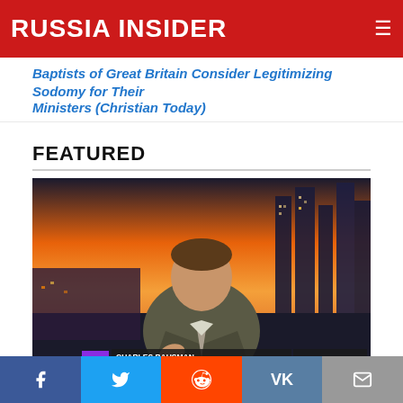RUSSIA INSIDER
Baptists of Great Britain Consider Legitimizing Sodomy for Their Ministers (Christian Today)
FEATURED
[Figure (photo): TV screenshot of Charles Bausman from Russia-Insider.com appearing on RT (Russia Today) television with Moscow cityscape at sunset in background. Lower-third caption reads: CHARLES BAUSMAN / RUSSIA-INSIDER.COM / MOSCOW. Ticker text at bottom reads: BEIJING 16:52 / PALESTINIAN MAN ACCUSED OF KILLING ISRAELI TEENAGERS GETS LIFE IN PRISON]
Why This Site Is the Very Opposite of Hateful - A